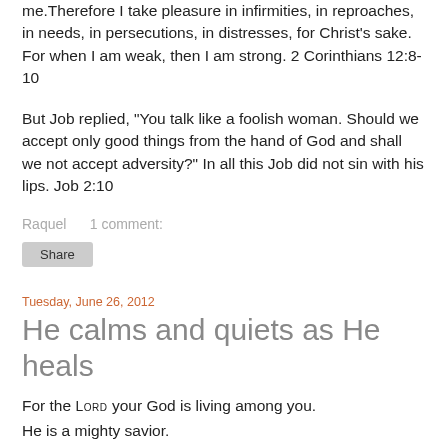me.Therefore I take pleasure in infirmities, in reproaches, in needs, in persecutions, in distresses, for Christ's sake. For when I am weak, then I am strong. 2 Corinthians 12:8-10
But Job replied, “You talk like a foolish woman. Should we accept only good things from the hand of God and shall we not accept adversity?” In all this Job did not sin with his lips. Job 2:10
Raquel    1 comment:
Share
Tuesday, June 26, 2012
He calms and quiets as He heals
For the LORD your God is living among you.
He is a mighty savior.
He will take delight in you with gladness.
With his love, he will calm/quiet all your fears.